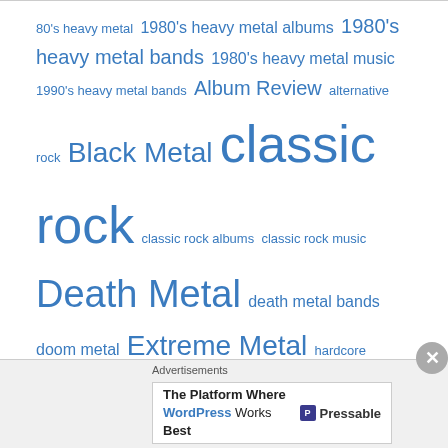[Figure (infographic): Tag cloud of music genre and related search terms in blue, varying font sizes indicating frequency/popularity. Tags include: 80's heavy metal, 1980's heavy metal albums, 1980's heavy metal bands, 1980's heavy metal music, 1990's heavy metal bands, Album Review, alternative rock, Black Metal, classic rock, classic rock albums, classic rock music, Death Metal, death metal bands, doom metal, Extreme Metal, hardcore, Hard Rock, hard rock albums 2012, hard rock albums 2013, hard rock albums 2014, hard rock music, hard rock news, Heavy Metal, heavy metal album review, heavy metal albums, heavy metal albums 2010, heavy metal albums 2011, heavy metal albums 2012, heavy metal bands, and more.]
Advertisements
[Figure (screenshot): Advertisement banner: 'The Platform Where WordPress Works Best' with Pressable logo]